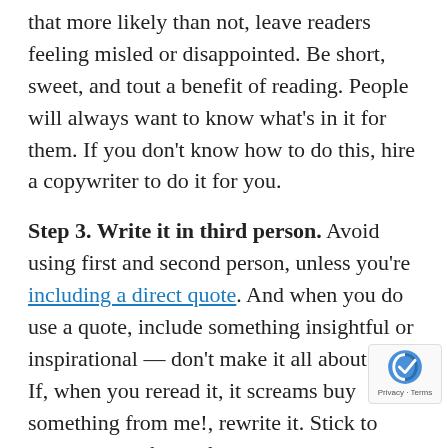that more likely than not, leave readers feeling misled or disappointed. Be short, sweet, and tout a benefit of reading. People will always want to know what's in it for them. If you don't know how to do this, hire a copywriter to do it for you.
Step 3. Write it in third person. Avoid using first and second person, unless you're including a direct quote. And when you do use a quote, include something insightful or inspirational — don't make it all about you. If, when you reread it, it screams buy something from me!, rewrite it. Stick to reporting the facts of the event. The goal is to make it look like a short announcement.
Step 4. Stick to one topic. Have you ever been